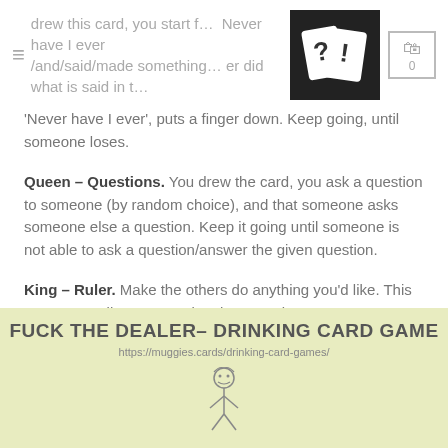drew this card, you start f... Never have I ever /and/said/made something... er did what is said in t...
'Never have I ever', puts a finger down. Keep going, until someone loses.
Queen – Questions. You drew the card, you ask a question to someone (by random choice), and that someone asks someone else a question. Keep it going until someone is not able to ask a question/answer the given question.
King – Ruler. Make the others do anything you'd like. This goes on, until someone else draws a King.
F*CK THE DEALER
[Figure (infographic): Yellow/green background infographic card reading 'FUCK THE DEALER- DRINKING CARD GAME' with URL https://muggies.cards/drinking-card-games/ and a figure illustration below]